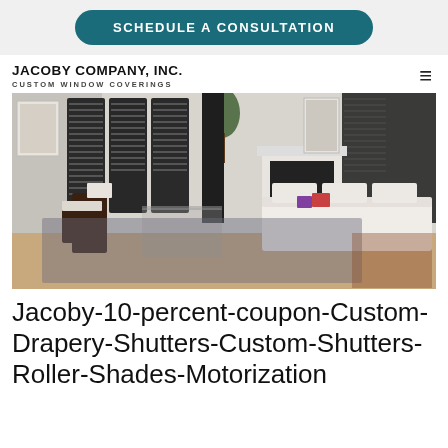SCHEDULE A CONSULTATION
JACOBY COMPANY, INC.
CUSTOM WINDOW COVERINGS
[Figure (photo): Interior living room with dark plantation shutters on windows, white sofas, dark wood chairs, glass coffee table, fireplace, and light wood floors]
Jacoby-10-percent-coupon-Custom-Drapery-Shutters-Custom-Shutters-Roller-Shades-Motorization